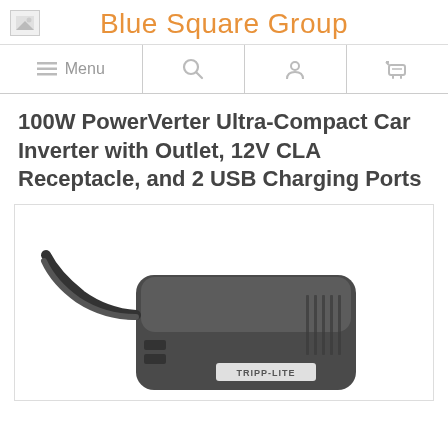Blue Square Group
100W PowerVerter Ultra-Compact Car Inverter with Outlet, 12V CLA Receptacle, and 2 USB Charging Ports
[Figure (photo): Photo of a Tripp Lite 100W PowerVerter ultra-compact car inverter device, dark grey/black, with a cable attached, shown at an angle against a white background inside a bordered container.]